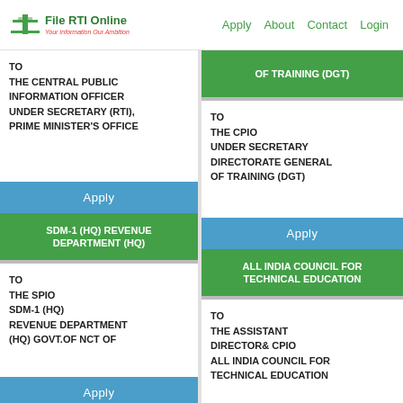File RTI Online — Your Information Our Ambition | Apply  About  Contact  Login
OF TRAINING (DGT)
TO
THE CENTRAL PUBLIC INFORMATION OFFICER
UNDER SECRETARY (RTI),
PRIME MINISTER'S OFFICE
Apply
TO
THE CPIO
UNDER SECRETARY
DIRECTORATE GENERAL OF TRAINING (DGT)
Apply
SDM-1 (HQ) REVENUE DEPARTMENT (HQ)
ALL INDIA COUNCIL FOR TECHNICAL EDUCATION
TO
THE SPIO
SDM-1 (HQ)
REVENUE DEPARTMENT (HQ) GOVT.OF NCT OF
Apply
TO
THE ASSISTANT DIRECTOR& CPIO
ALL INDIA COUNCIL FOR TECHNICAL EDUCATION
Apply